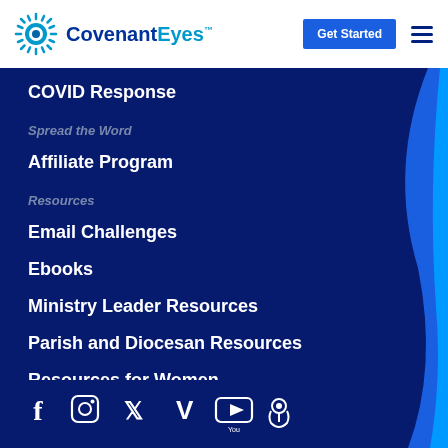[Figure (logo): Covenant Eyes logo with sunburst icon and blue text]
COVID Response
Spread the Word
Affiliate Program
Resources
Email Challenges
Ebooks
Ministry Leader Resources
Parish and Diocesan Resources
Resources for Women
[Figure (infographic): Social media icons: Facebook, Instagram, Twitter, Vimeo, YouTube, Podcast]